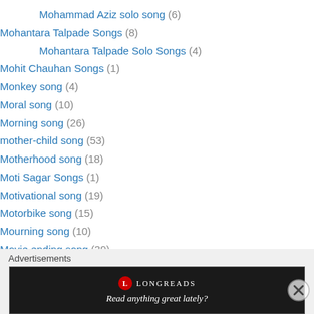Mohammad Aziz solo song (6)
Mohantara Talpade Songs (8)
Mohantara Talpade Solo Songs (4)
Mohit Chauhan Songs (1)
Monkey song (4)
Moral song (10)
Morning song (26)
mother-child song (53)
Motherhood song (18)
Moti Sagar Songs (1)
Motivational song (19)
Motorbike song (15)
Mourning song (10)
Movie ending song (39)
movie opening song (132)
MS Subbulakshmi Songs (1)
Advertisements
[Figure (screenshot): Longreads advertisement banner with dark background reading 'Read anything great lately?']